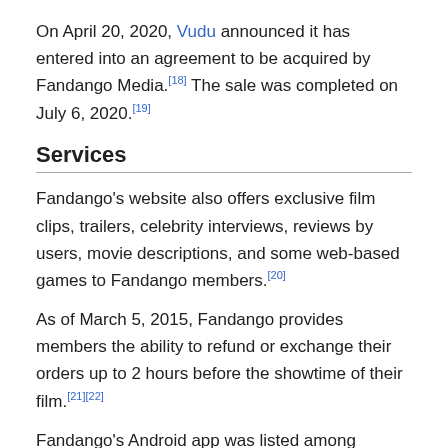On April 20, 2020, Vudu announced it has entered into an agreement to be acquired by Fandango Media.[18] The sale was completed on July 6, 2020.[19]
Services
Fandango's website also offers exclusive film clips, trailers, celebrity interviews, reviews by users, movie descriptions, and some web-based games to Fandango members.[20]
As of March 5, 2015, Fandango provides members the ability to refund or exchange their orders up to 2 hours before the showtime of their film.[21][22]
Fandango's Android app was listed among Techland's 50 Best Android Applications for 2013.[23]
Competition
Until its acquisition of its rival MovieTickets.com in 2017, Fandango was one of three major online advance movie ticket